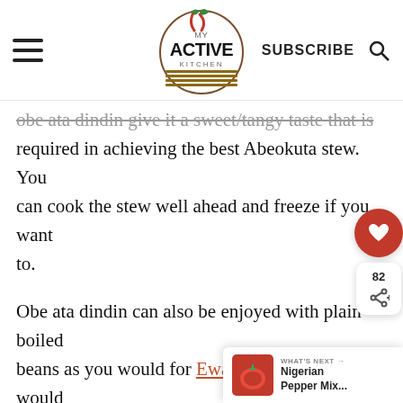MY ACTIVE KITCHEN — SUBSCRIBE
obe ata dindin give it a sweet/tangy taste that is required in achieving the best Abeokuta stew. You can cook the stew well ahead and freeze if you want to.
Obe ata dindin can also be enjoyed with plain boiled beans as you would for Ewa aganyin. If you would be using this stew as cooked mashed beans sauce, you can omit the locust beans used in this recipe. find it boring to eat plain boiled rice with my regular stew, so what I do is make a bowl of this keep in the fridge or freezer and use as at when due.